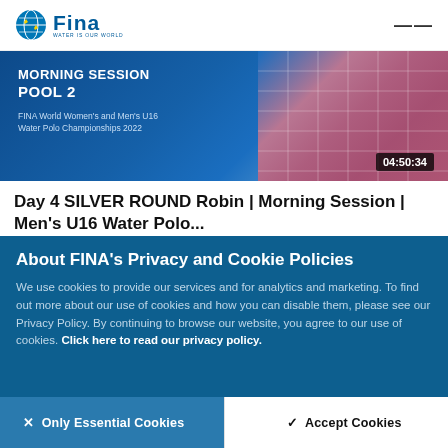FINA - Water Is Our World
[Figure (screenshot): Video thumbnail showing MORNING SESSION POOL 2, FINA World Women's and Men's U16 Water Polo Championships 2022, with timestamp 04:50:34]
Day 4 SILVER ROUND Robin | Morning Session | Men's U16 Water Polo...
About FINA's Privacy and Cookie Policies
We use cookies to provide our services and for analytics and marketing. To find out more about our use of cookies and how you can disable them, please see our Privacy Policy. By continuing to browse our website, you agree to our use of cookies. Click here to read our privacy policy.
× Only Essential Cookies
✓ Accept Cookies